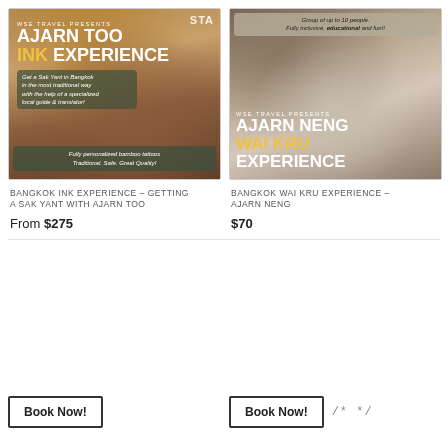[Figure (photo): Ajarn Too Ink Experience promotional poster showing a tattooed arm with golden decoration, bamboo tattoo imagery, and product text overlay]
[Figure (photo): Ajarn Neng Wai Kru Experience promotional poster showing a monk performing a Sak Yant tattoo ritual on a person's back]
BANGKOK INK EXPERIENCE – GETTING A SAK YANT WITH AJARN TOO
BANGKOK WAI KRU EXPERIENCE – AJARN NENG
From $275
$70
Book Now!
Book Now!
/* */